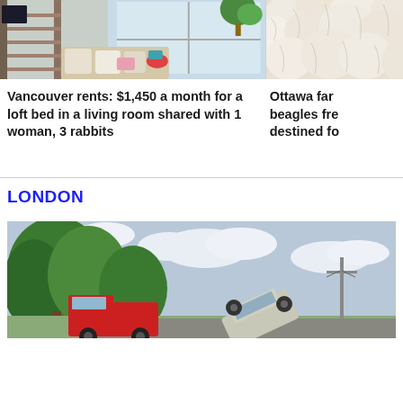[Figure (photo): Interior of a living room with a loft bed, sofa with pillows, and a large window with a plant]
Vancouver rents: $1,450 a month for a loft bed in a living room shared with 1 woman, 3 rabbits
[Figure (photo): Close-up of a fluffy white/cream material or animal fur]
Ottawa family rescues beagles from lab destined for...
LONDON
[Figure (photo): Outdoor scene in London with trees, a red vehicle, and an overturned vehicle or accident scene]